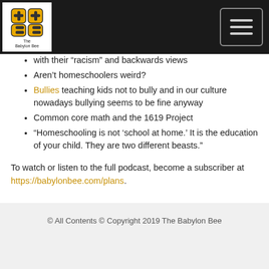The Babylon Bee
with their “racism” and backwards views
Aren’t homeschoolers weird?
Bullies teaching kids not to bully and in our culture nowadays bullying seems to be fine anyway
Common core math and the 1619 Project
“Homeschooling is not ‘school at home.’ It is the education of your child. They are two different beasts.”
To watch or listen to the full podcast, become a subscriber at https://babylonbee.com/plans.
© All Contents © Copyright 2019 The Babylon Bee